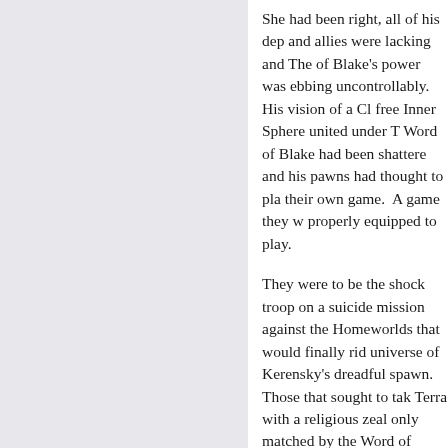She had been right, all of his deputies and allies were lacking and The of Blake's power was ebbing uncontrollably.  His vision of a Cl free Inner Sphere united under T Word of Blake had been shatters and his pawns had thought to pl their own game.  A game they w properly equipped to play.
They were to be the shock troop on a suicide mission against the Homeworlds that would finally ri universe of Kerensky's dreadful spawn.  Those that sought to tak Terra with a religious zeal only matched by the Word of Blake's devotion to its protection at all co Their numbers not large enough bring down the Federated Commonwealth, such a feat was audacious even under the best c circumstances.  Without the mi